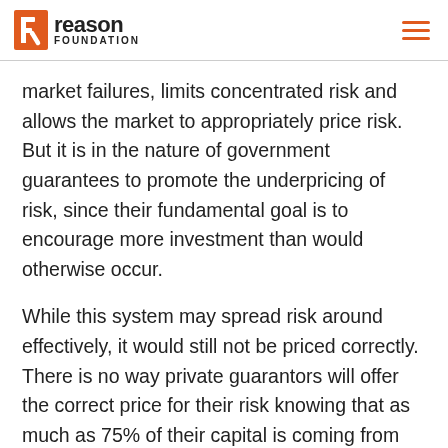reason FOUNDATION
market failures, limits concentrated risk and allows the market to appropriately price risk. But it is in the nature of government guarantees to promote the underpricing of risk, since their fundamental goal is to encourage more investment than would otherwise occur.
While this system may spread risk around effectively, it would still not be priced correctly. There is no way private guarantors will offer the correct price for their risk knowing that as much as 75% of their capital is coming from Uncle Sam. Investors may have the incentive to perform more due diligence, since they would not be 100%